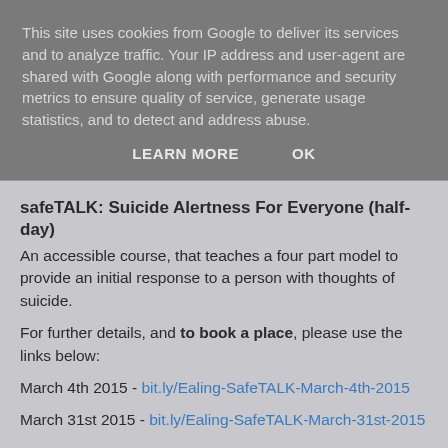This site uses cookies from Google to deliver its services and to analyze traffic. Your IP address and user-agent are shared with Google along with performance and security metrics to ensure quality of service, generate usage statistics, and to detect and address abuse.
LEARN MORE   OK
safeTALK: Suicide Alertness For Everyone (half-day)
An accessible course, that teaches a four part model to provide an initial response to a person with thoughts of suicide.
For further details, and to book a place, please use the links below:
March 4th 2015 - bit.ly/Ealing-SafeTALK-March-4th-2015
March 31st 2015 - bit.ly/Ealing-SafeTALK-March-31st-2015